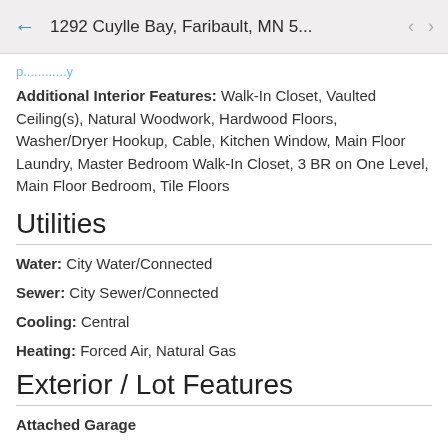1292 Cuylle Bay, Faribault, MN 5...
Additional Interior Features: Walk-In Closet, Vaulted Ceiling(s), Natural Woodwork, Hardwood Floors, Washer/Dryer Hookup, Cable, Kitchen Window, Main Floor Laundry, Master Bedroom Walk-In Closet, 3 BR on One Level, Main Floor Bedroom, Tile Floors
Utilities
Water: City Water/Connected
Sewer: City Sewer/Connected
Cooling: Central
Heating: Forced Air, Natural Gas
Exterior / Lot Features
Attached Garage